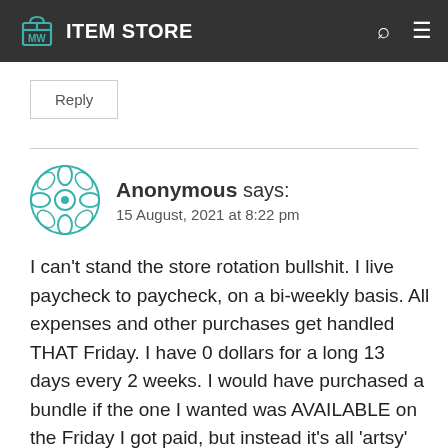ITEM STORE
Reply
Anonymous says:
15 August, 2021 at 8:22 pm
I can't stand the store rotation bullshit. I live paycheck to paycheck, on a bi-weekly basis. All expenses and other purchases get handled THAT Friday. I have 0 dollars for a long 13 days every 2 weeks. I would have purchased a bundle if the one I wanted was AVAILABLE on the Friday I got paid, but instead it's all 'artsy' dumb BS.